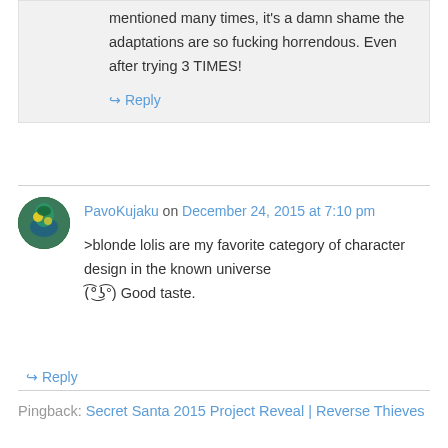mentioned many times, it's a damn shame the adaptations are so fucking horrendous. Even after trying 3 TIMES!
↳ Reply
PavoKujaku on December 24, 2015 at 7:10 pm
>blonde lolis are my favorite category of character design in the known universe (͡°͜ʖ͡°) Good taste.
↳ Reply
Pingback: Secret Santa 2015 Project Reveal | Reverse Thieves